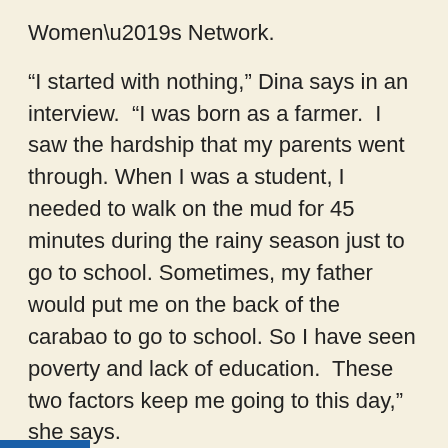Women’s Network.
“I started with nothing,” Dina says in an interview.  “I was born as a farmer.  I saw the hardship that my parents went through. When I was a student, I needed to walk on the mud for 45 minutes during the rainy season just to go to school. Sometimes, my father would put me on the back of the carabao to go to school. So I have seen poverty and lack of education.  These two factors keep me going to this day,” she says.